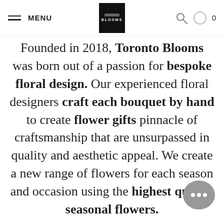MENU | Toronto Blooms logo | 0
Founded in 2018, Toronto Blooms was born out of a passion for bespoke floral design. Our experienced floral designers craft each bouquet by hand to create flower gifts pinnacle of craftsmanship that are unsurpassed in quality and aesthetic appeal. We create a new range of flowers for each season and occasion using the highest quality seasonal flowers.

We are a city-wide florist and deliver to all locations within
[Figure (illustration): Gray chat bubble icon with three dots, bottom right corner]